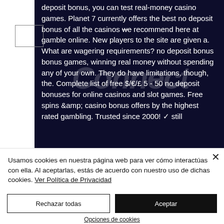deposit bonus, you can test real-money casino games. Planet 7 currently offers the best no deposit bonus of all the casinos we recommend here at gamble online. New players to the site are given a. What are wagering requirements? no deposit bonus bonus games, winning real money without spending any of your own. They do have limitations, though, the. Complete list of free $/€/£ 5 - 50 no deposit bonuses for online casinos and slot games. Free spins &amp; casino bonus offers by the highest rated gambling. Trusted since 2000! ✓ still
[Figure (screenshot): Connect watermark overlay on dark background]
Usamos cookies en nuestra página web para ver cómo interactúas con ella. Al aceptarlas, estás de acuerdo con nuestro uso de dichas cookies. Ver Política de Privacidad
Rechazar todas
Aceptar
Opciones de cookies